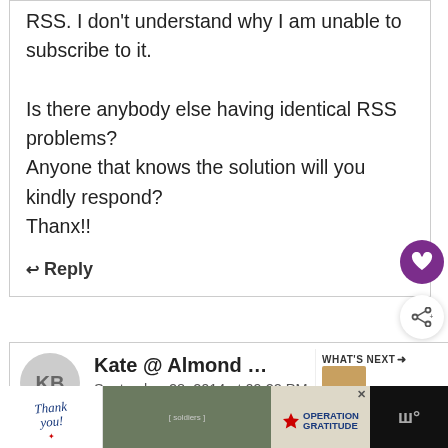RSS. I don't understand why I am unable to subscribe to it.

Is there anybody else having identical RSS problems?
Anyone that knows the solution will you kindly respond?
Thanx!!
↩ Reply
Kate @ Almond Butter Binge
September 28, 2014 at 09:22 PM
WHAT'S NEXT ➜ How to Spiralize...